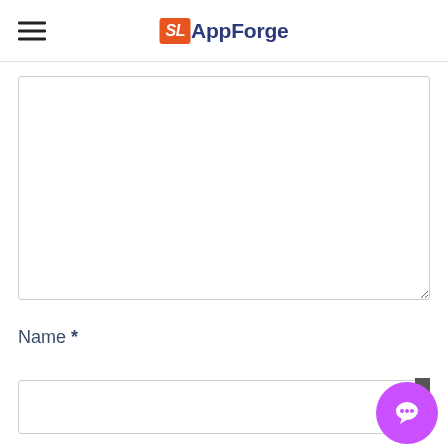[Figure (logo): SL AppForge logo with hamburger menu icon on the left. Orange box with SL in italic white text, followed by AppForge in dark navy bold text.]
[Figure (screenshot): Large empty text area input box with a resize handle in the bottom right corner.]
Name *
[Figure (screenshot): Empty single-line text input field for Name. A purple circular chat button with a speech bubble icon is overlaid on the bottom right.]